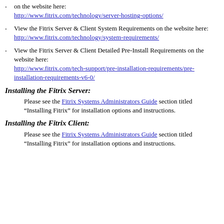on the website here: http://www.fitrix.com/technology/server-hosting-options/
View the Fitrix Server & Client System Requirements on the website here: http://www.fitrix.com/technology/system-requirements/
View the Fitrix Server & Client Detailed Pre-Install Requirements on the website here: http://www.fitrix.com/tech-support/pre-installation-requirements/pre-installation-requirements-v6-0/
Installing the Fitrix Server:
Please see the Fitrix Systems Administrators Guide section titled “Installing Fitrix” for installation options and instructions.
Installing the Fitrix Client:
Please see the Fitrix Systems Administrators Guide section titled “Installing Fitrix” for installation options and instructions.